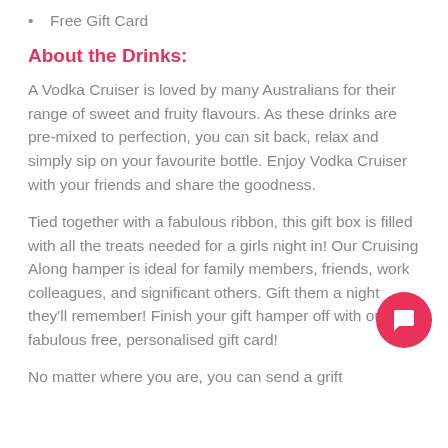Free Gift Card
About the Drinks:
A Vodka Cruiser is loved by many Australians for their range of sweet and fruity flavours. As these drinks are pre-mixed to perfection, you can sit back, relax and simply sip on your favourite bottle. Enjoy Vodka Cruiser with your friends and share the goodness.
Tied together with a fabulous ribbon, this gift box is filled with all the treats needed for a girls night in! Our Cruising Along hamper is ideal for family members, friends, work colleagues, and significant others. Gift them a night they'll remember! Finish your gift hamper off with our fabulous free, personalised gift card!
No matter where you are, you can send a grift